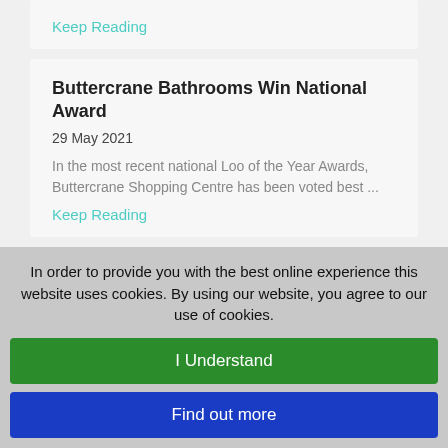Keep Reading
Buttercrane Bathrooms Win National Award
29 May 2021
In the most recent national Loo of the Year Awards, Buttercrane Shopping Centre has been voted best ...
Keep Reading
Ready To Welcome You Back
29 April 2021
Following the NI Executive relaxation of Lockdown f...
In order to provide you with the best online experience this website uses cookies. By using our website, you agree to our use of cookies.
I Understand
Find out more